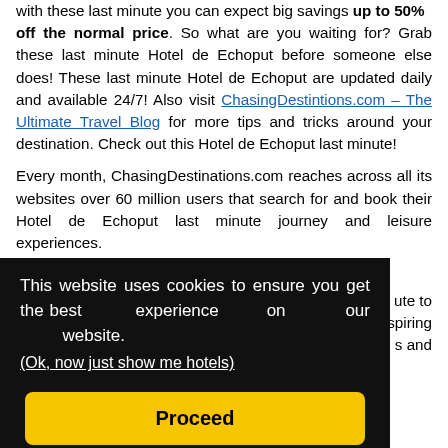with these last minute you can expect big savings up to 50% off the normal price. So what are you waiting for? Grab these last minute Hotel de Echoput before someone else does! These last minute Hotel de Echoput are updated daily and available 24/7! Also visit ChasingDestintions.com – The Ultimate Travel Blog for more tips and tricks around your destination. Check out this Hotel de Echoput last minute!
Every month, ChasingDestinations.com reaches across all its websites over 60 million users that search for and book their Hotel de Echoput last minute journey and leisure experiences. [partially obscured text] ...ute to ...spiring ...s and
[Figure (screenshot): Cookie consent overlay banner with black background reading: 'This website uses cookies to ensure you get the best experience on our website. (Ok, now just show me hotels)' and a yellow 'Proceed' button.]